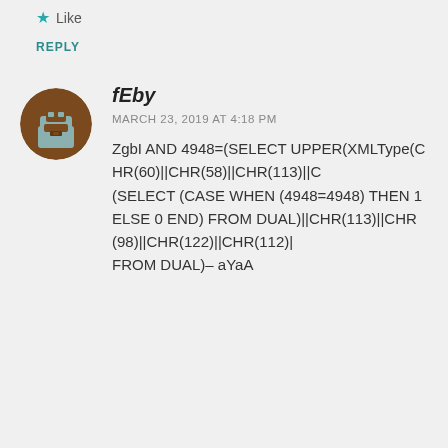Like
REPLY
fEby
MARCH 23, 2019 AT 4:18 PM
ZgbI AND 4948=(SELECT UPPER(XMLType(CHR(60)||CHR(58)||CHR(113)||CH(SELECT (CASE WHEN (4948=4948) THEN 1 ELSE 0 END) FROM DUAL)||CHR(113)||CHR(98)||CHR(122)||CHR(112)| FROM DUAL)– aYaA